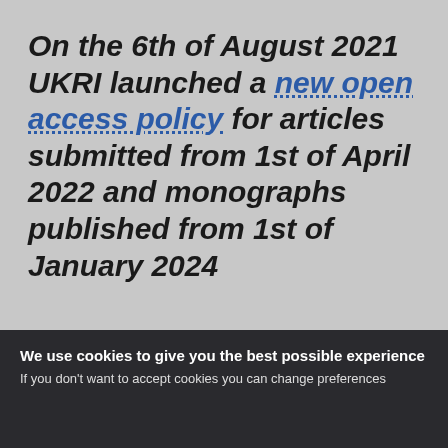On the 6th of August 2021 UKRI launched a new open access policy for articles submitted from 1st of April 2022 and monographs published from 1st of January 2024
Funder Open Access Policies
We use cookies to give you the best possible experience
If you don't want to accept cookies you can change preferences